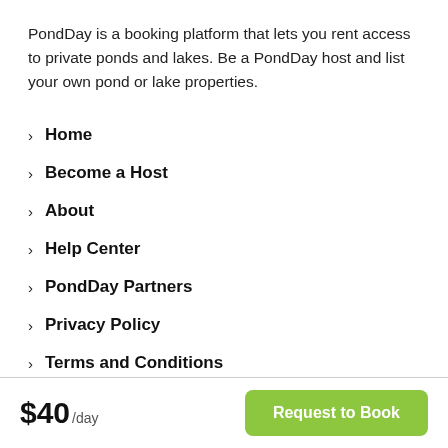PondDay is a booking platform that lets you rent access to private ponds and lakes. Be a PondDay host and list your own pond or lake properties.
Home
Become a Host
About
Help Center
PondDay Partners
Privacy Policy
Terms and Conditions
$40/day  Request to Book